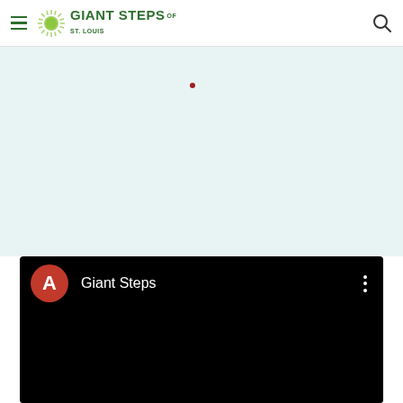Giant Steps of St. Louis
[Figure (screenshot): Light teal/blue content area with a small red dot near the center top]
[Figure (screenshot): YouTube-style video card with black background, red circle avatar with letter A, channel name 'Giant Steps', and three-dot menu icon]